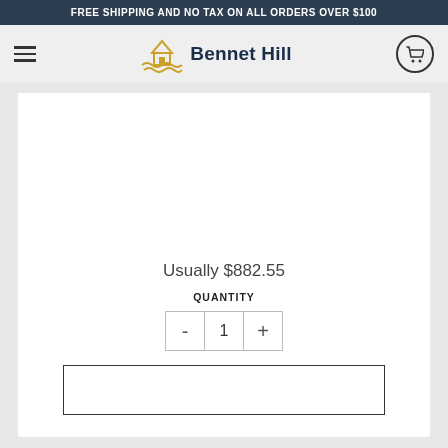FREE SHIPPING AND NO TAX ON ALL ORDERS OVER $100
[Figure (logo): Bennet Hill logo with barn and wheat field icon and text 'Bennet Hill']
Usually $882.55
QUANTITY
[Figure (other): Quantity selector with minus button, value 1, and plus button]
[Figure (other): Add to cart button (empty white rectangle)]